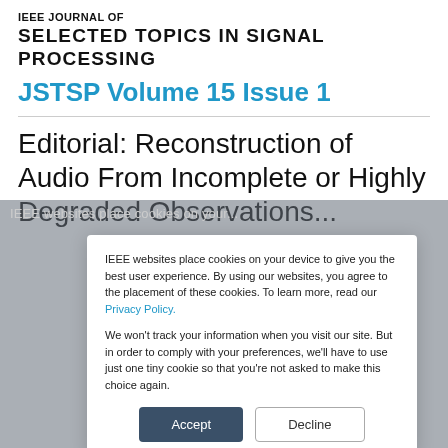IEEE JOURNAL OF
SELECTED TOPICS IN SIGNAL PROCESSING
JSTSP Volume 15 Issue 1
Editorial: Reconstruction of Audio From Incomplete or Highly Degraded Observations...
IEEE websites place cookies on your device to give you the best user experience. By using our websites, you agree to the placement of these cookies. To learn more, read our Privacy Policy.
We won't track your information when you visit our site. But in order to comply with your preferences, we'll have to use just one tiny cookie so that you're not asked to make this choice again.